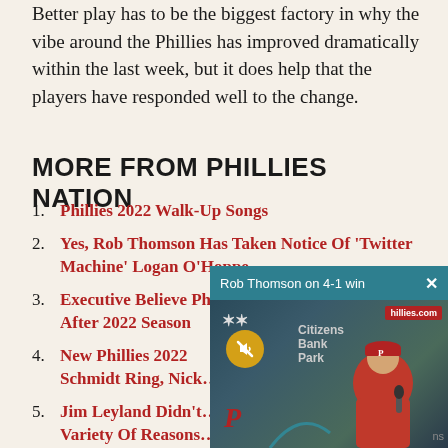Better play has to be the biggest factory in why the vibe around the Phillies has improved dramatically within the last week, but it does help that the players have responded well to the change.
MORE FROM PHILLIES NATION
Phillies 2022 Walk-Up Songs
Yes, Rob Thomson Has Taken Notice Of 'Twitter Machine' Logan O'Hoppe
Executive Believe Phillies Will Target Star SS After 2022 Season
New Phillies 2022 … Schmidt Ring, Nick…
Jim Leyland Didn't … Variety Of Reasons…
Takeaways From Da… Press Conference
[Figure (screenshot): Video overlay showing Rob Thomson at press conference with Citizens Bank Park signage behind him. Header bar reads 'Rob Thomson on 4-1 win' in teal. Close button X visible. Mute button shown as yellow circle with mute icon. Phillies logo visible on coach's hat.]